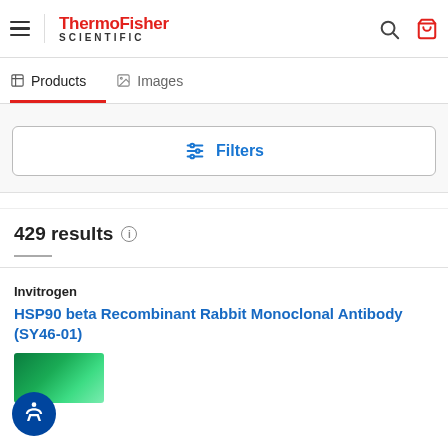ThermoFisher SCIENTIFIC
Products | Images
Filters
429 results
Invitrogen
HSP90 beta Recombinant Rabbit Monoclonal Antibody (SY46-01)